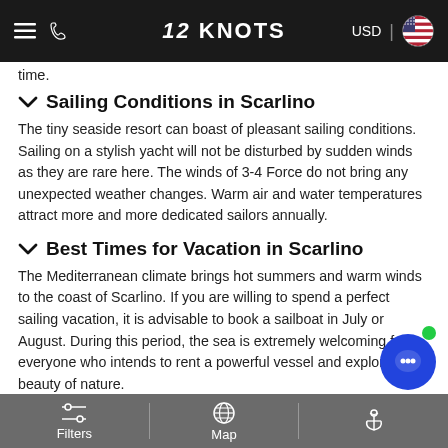12 KNOTS | USD
time.
Sailing Conditions in Scarlino
The tiny seaside resort can boast of pleasant sailing conditions. Sailing on a stylish yacht will not be disturbed by sudden winds as they are rare here. The winds of 3-4 Force do not bring any unexpected weather changes. Warm air and water temperatures attract more and more dedicated sailors annually.
Best Times for Vacation in Scarlino
The Mediterranean climate brings hot summers and warm winds to the coast of Scarlino. If you are willing to spend a perfect sailing vacation, it is advisable to book a sailboat in July or August. During this period, the sea is extremely welcoming for everyone who intends to rent a powerful vessel and explore the beauty of nature.
Sailing Difficulty Level
The beneficial location of Scarlino represents suitable conditions for beginners as well as sailors with intermediate skills. In case you
Filters | Map